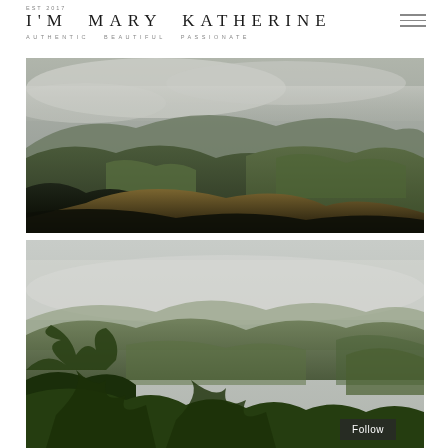EST 2017 | I'M MARY KATHERINE | AUTHENTIC BEAUTIFUL PASSIONATE
[Figure (photo): Misty mountain valley landscape with green hills and low clouds, dark foreground of dry golden grass]
[Figure (photo): Mountain valley viewed from above with green trees and ferns in foreground, misty layered hills in background]